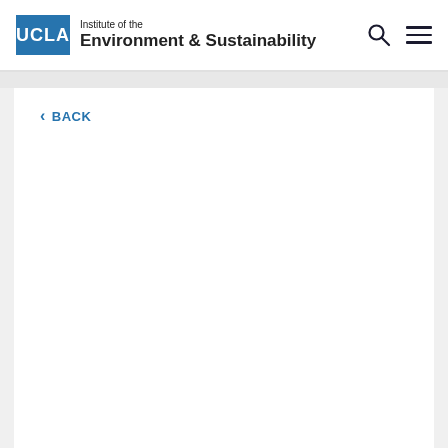UCLA Institute of the Environment & Sustainability
< BACK